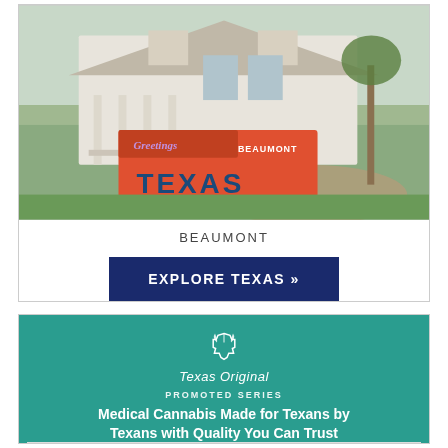[Figure (photo): Photo of a white Victorian-style house in Beaumont, Texas with a colorful postcard sign reading 'Greetings from BEAUMONT TEXAS' in the foreground]
BEAUMONT
EXPLORE TEXAS »
[Figure (infographic): Promoted advertisement for Texas Original medical cannabis with teal background, Texas Original logo, headline 'Medical Cannabis Made for Texans by Texans with Quality You Can Trust', and Texas CUP License No. 0005]
8/17  Here's how to get a prescription for medical cannabis in Texas